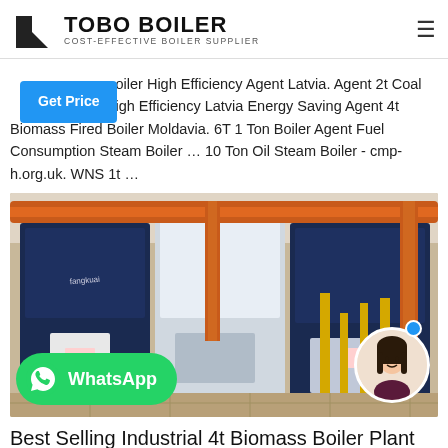TOBO BOILER — COST-EFFECTIVE BOILER SUPPLIER
oiler High Efficiency Agent Latvia. Agent 2t Coal igh Efficiency Latvia Energy Saving Agent 4t Biomass Fired Boiler Moldavia. 6T 1 Ton Boiler Agent Fuel Consumption Steam Boiler … 10 Ton Oil Steam Boiler - cmp-h.org.uk. WNS 1t …
[Figure (photo): Industrial boilers (FANGKUAI brand) in a boiler room with orange and yellow pipes, with a WhatsApp button overlay and a chat avatar in the bottom right corner]
Best Selling Industrial 4t Biomass Boiler Plant